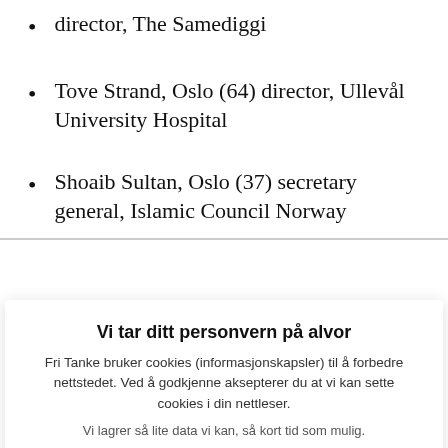director, The Samediggi
Tove Strand, Oslo (64) director, Ullevål University Hospital
Shoaib Sultan, Oslo (37) secretary general, Islamic Council Norway
A committee...
Vi tar ditt personvern på alvor
Fri Tanke bruker cookies (informasjonskapsler) til å forbedre nettstedet. Ved å godkjenne aksepterer du at vi kan sette cookies i din nettleser.
Vi lagrer så lite data vi kan, så kort tid som mulig.
Mer informasjon
GODKJENN
• Minorities will not be allowed to dominate the commission
NHA have issued a press release criticising the commission for a preponderance of members